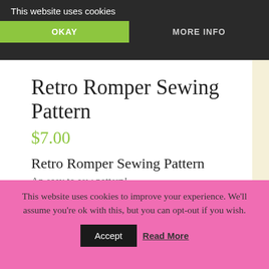This website uses cookies
OKAY
MORE INFO
Retro Romper Sewing Pattern
$7.00
Retro Romper Sewing Pattern
An easy to sew pattern!
You will receive:
This website uses cookies to improve your experience. We'll assume you're ok with this, but you can opt-out if you wish.
Accept
Read More